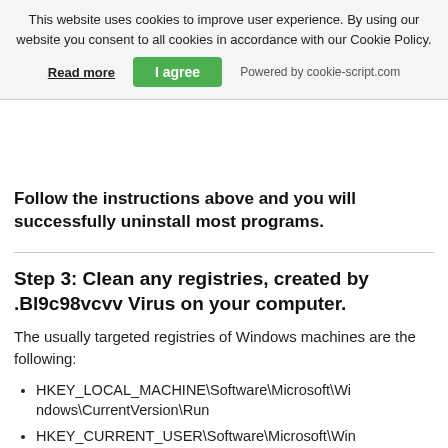[Figure (screenshot): Cookie consent banner with text, Read more link, I agree button, and Powered by cookie-script.com text]
Follow the instructions above and you will successfully uninstall most programs.
Step 3: Clean any registries, created by .Bl9c98vcvv Virus on your computer.
The usually targeted registries of Windows machines are the following:
HKEY_LOCAL_MACHINE\Software\Microsoft\Windows\CurrentVersion\Run
HKEY_CURRENT_USER\Software\Microsoft\Windows\CurrentVersion\Run
HKEY_LOCAL_MACHINE\Software\Microsoft\Windows\CurrentVersion\RunOnce